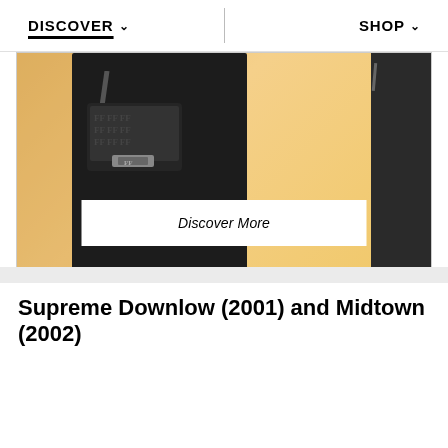DISCOVER   SHOP
[Figure (photo): Fashion photo showing a person in a long black coat holding a Fendi-patterned crossbody bag against a warm peach/gold background. A white 'Discover More' button overlay is centered at the bottom of the image.]
Supreme Downlow (2001) and Midtown (2002)